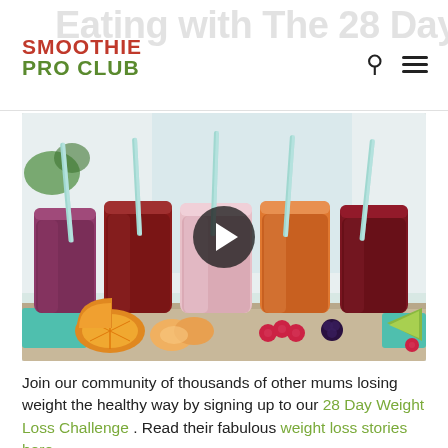SMOOTHIE PRO CLUB
[Figure (photo): Five mason jars filled with colorful smoothies (purple, dark red, pink, orange, dark berry) with light blue striped straws, surrounded by fresh fruits including oranges, peaches, raspberries, blackberries, and lime on a wooden surface. A video play button overlay is centered on the image.]
Join our community of thousands of other mums losing weight the healthy way by signing up to our 28 Day Weight Loss Challenge . Read their fabulous weight loss stories here .